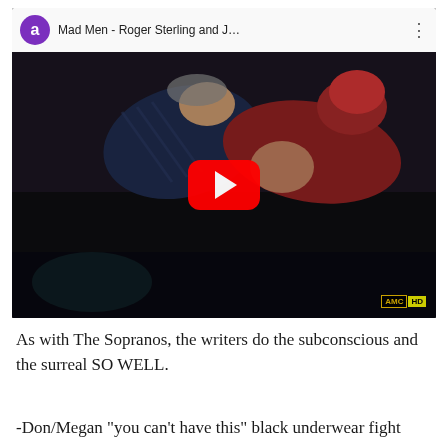[Figure (screenshot): YouTube video embed showing 'Mad Men - Roger Sterling and J...' with a purple avatar circle with letter 'a', video thumbnail with two people lying down, red YouTube play button overlay, and AMC HD watermark in the bottom right corner.]
As with The Sopranos, the writers do the subconscious and the surreal SO WELL.
-Don/Megan "you can't have this" black underwear fight